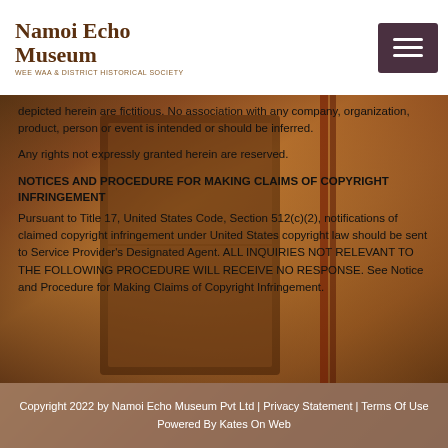Namoi Echo Museum | Wee Waa & District Historical Society
[Figure (photo): Background photo of antique decorative wooden items with warm amber tones]
depicted herein are fictitious. No association with any company, organization, product, person or event is intended or should be inferred.
Any rights not expressly granted herein are reserved.
NOTICES AND PROCEDURE FOR MAKING CLAIMS OF COPYRIGHT INFRINGEMENT
Pursuant to Title 17, United States Code, Section 512(c)(2), notifications of claimed copyright infringement under United States copyright law should be sent to Service Provider's Designated Agent. ALL INQUIRIES NOT RELEVANT TO THE FOLLOWING PROCEDURE WILL RECEIVE NO RESPONSE. See Notice and Procedure for Making Claims of Copyright Infringement.
Copyright 2022 by Namoi Echo Museum Pvt Ltd | Privacy Statement | Terms Of Use   Powered By Kates On Web